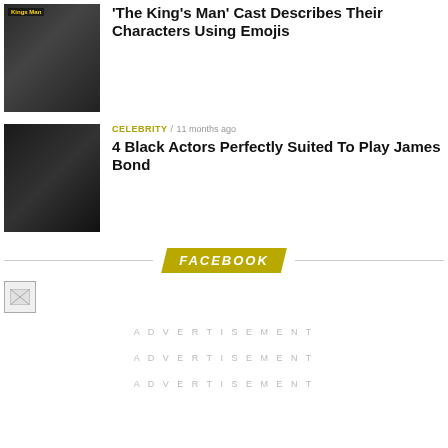[Figure (photo): Movie cast photo with swords crossed - The King's Man]
'The King's Man' Cast Describes Their Characters Using Emojis
[Figure (photo): Group photo of Black actors in formal wear]
CELEBRITY / 11 months ago
4 Black Actors Perfectly Suited To Play James Bond
FACEBOOK
[Figure (photo): Broken/placeholder image icon]
ADVERTISEMENT
ADVERTISEMENT
ADVERTISEMENT